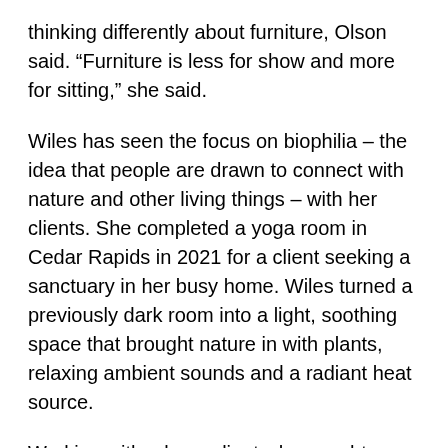thinking differently about furniture, Olson said. “Furniture is less for show and more for sitting,” she said.
Wiles has seen the focus on biophilia – the idea that people are drawn to connect with nature and other living things – with her clients. She completed a yoga room in Cedar Rapids in 2021 for a client seeking a sanctuary in her busy home. Wiles turned a previously dark room into a light, soothing space that brought nature in with plants, relaxing ambient sounds and a radiant heat source.
Working with a busy client who sought a sanctuary in her home, Lori Wiles Design turned a previously dark den into a light, soothing yoga room in Cedar Rapids in 2021. Some of the